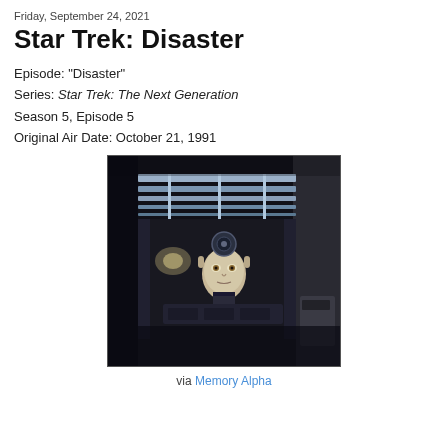Friday, September 24, 2021
Star Trek: Disaster
Episode: "Disaster"
Series: Star Trek: The Next Generation
Season 5, Episode 5
Original Air Date: October 21, 1991
[Figure (photo): Dark sci-fi corridor scene showing an android character (Data from Star Trek: TNG) trapped or working in a Jefferies tube or maintenance shaft, surrounded by starship interior panels and equipment.]
via Memory Alpha